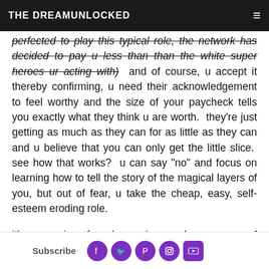THE DREAMUNLOCKED
perfected to play this typical role, the network has decided to pay u less than than the white super heroes ur acting with)  and of course, u accept it thereby confirming, u need their acknowledgement to feel worthy and the size of your paycheck tells you exactly what they think u are worth.  they're just getting as much as they can for as little as they can and u believe that you can only get the little slice.  see how that works?  u can say "no" and focus on learning how to tell the story of the magical layers of you, but out of fear, u take the cheap, easy, self-esteem eroding role.
it's a recipe for depression and a sense of worthlessness. and it's not just white writers, producers,
Subscribe